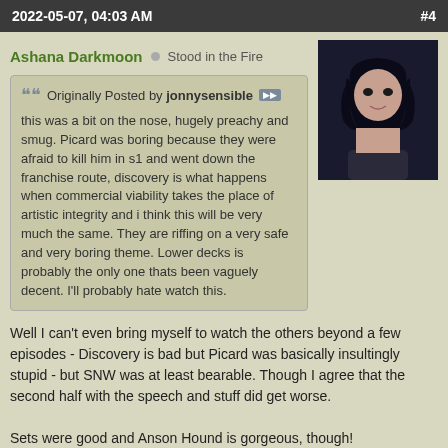2022-05-07, 04:03 AM   #4
Ashana Darkmoon  ○  Stood in the Fire
Originally Posted by jonnysensible
this was a bit on the nose, hugely preachy and smug. Picard was boring because they were afraid to kill him in s1 and went down the franchise route, discovery is what happens when commercial viability takes the place of artistic integrity and i think this will be very much the same. They are riffing on a very safe and very boring theme. Lower decks is probably the only one thats been vaguely decent. I'll probably hate watch this.
Well I can't even bring myself to watch the others beyond a few episodes - Discovery is bad but Picard was basically insultingly stupid - but SNW was at least bearable. Though I agree that the second half with the speech and stuff did get worse.

Sets were good and Anson Hound is gorgeous, though!
Reply With Quote
2022-05-   #5